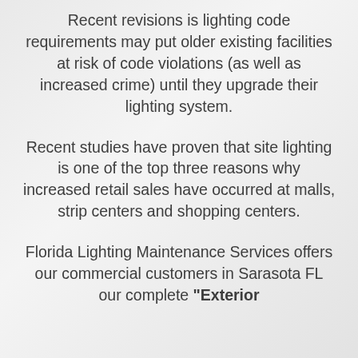Recent revisions is lighting code requirements may put older existing facilities at risk of code violations (as well as increased crime) until they upgrade their lighting system.
Recent studies have proven that site lighting is one of the top three reasons why increased retail sales have occurred at malls, strip centers and shopping centers.
Florida Lighting Maintenance Services offers our commercial customers in Sarasota FL our complete "Exterior